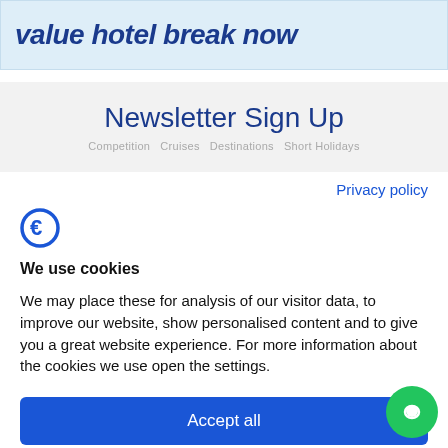value hotel break now
Newsletter Sign Up
Privacy policy
[Figure (logo): Cookiebot logo - stylized C with euro-like symbol in blue]
We use cookies
We may place these for analysis of our visitor data, to improve our website, show personalised content and to give you a great website experience. For more information about the cookies we use open the settings.
Accept all
Deny
No, adjust